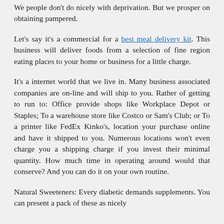We people don't do nicely with deprivation. But we prosper on obtaining pampered.
Let's say it's a commercial for a best meal delivery kit. This business will deliver foods from a selection of fine region eating places to your home or business for a little charge.
It's a internet world that we live in. Many business associated companies are on-line and will ship to you. Rather of getting to run to: Office provide shops like Workplace Depot or Staples; To a warehouse store like Costco or Sam's Club; or To a printer like FedEx Kinko's, location your purchase online and have it shipped to you. Numerous locations won't even charge you a shipping charge if you invest their minimal quantity. How much time in operating around would that conserve? And you can do it on your own routine.
Natural Sweeteners: Every diabetic demands supplements. You can present a pack of these as nicely